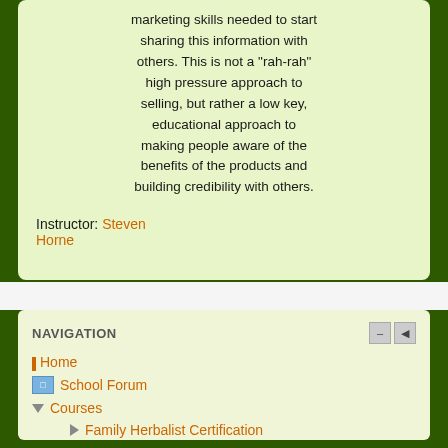marketing skills needed to start sharing this information with others. This is not a "rah-rah" high pressure approach to selling, but rather a low key, educational approach to making people aware of the benefits of the products and building credibility with others.
Instructor: Steven Horne
NAVIGATION
Home
School Forum
Courses
Family Herbalist Certification